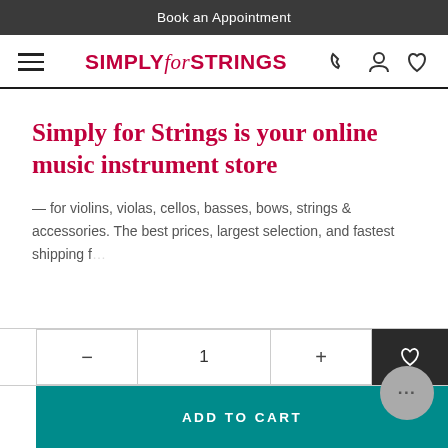Book an Appointment
[Figure (logo): Simply for Strings logo with hamburger menu and nav icons (phone, user, heart)]
Simply for Strings is your online music instrument store
— for violins, violas, cellos, basses, bows, strings & accessories. The best prices, largest selection, and fastest shipping f...
[Figure (screenshot): Add to cart UI: quantity selector with minus, 1, plus buttons; heart/wishlist button; ADD TO CART button; chat bubble with ellipsis]